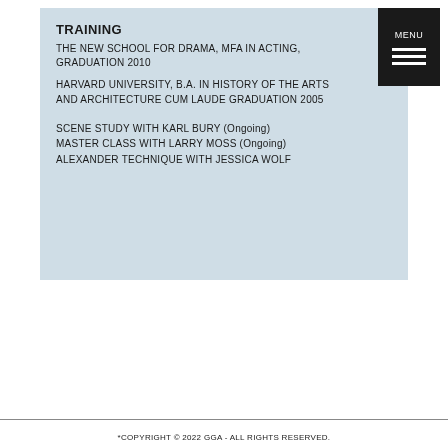TRAINING
THE NEW SCHOOL FOR DRAMA, MFA IN ACTING, GRADUATION 2010
HARVARD UNIVERSITY, B.A. IN HISTORY OF THE ARTS AND ARCHITECTURE CUM LAUDE GRADUATION 2005
SCENE STUDY WITH KARL BURY (Ongoing)
MASTER CLASS WITH LARRY MOSS (Ongoing)
ALEXANDER TECHNIQUE WITH JESSICA WOLF
*COPYRIGHT © 2022 GGA - ALL RIGHTS RESERVED.